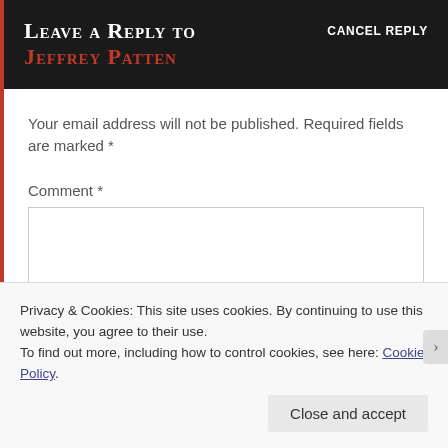Leave a Reply to Jeffrey Patten
CANCEL REPLY
Your email address will not be published. Required fields are marked *
Comment *
Privacy & Cookies: This site uses cookies. By continuing to use this website, you agree to their use.
To find out more, including how to control cookies, see here: Cookie Policy
Close and accept